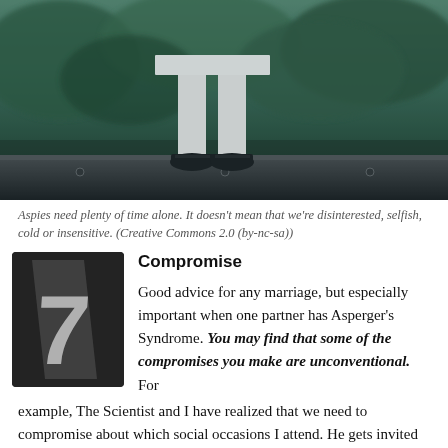[Figure (photo): Photo of a person's legs wearing black flats, standing on what appears to be a park bench or railing, with blurred green trees in the background. Teal/cool color tone.]
Aspies need plenty of time alone. It doesn't mean that we're disinterested, selfish, cold or insensitive. (Creative Commons 2.0 (by-nc-sa))
[Figure (illustration): Number 7 tile or card with metallic/dark styling, representing item number 7 in a list.]
Compromise
Good advice for any marriage, but especially important when one partner has Asperger's Syndrome. You may find that some of the compromises you make are unconventional. For example, The Scientist and I have realized that we need to compromise about which social occasions I attend. He gets invited to a lot of work-related dinners, cocktail hours, award ceremonies etc. We have worked out often when we can...